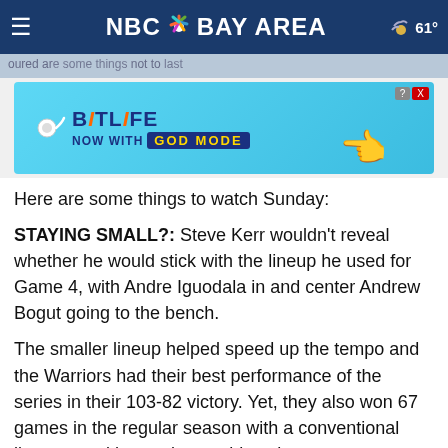NBC Bay Area - 61°
[Figure (screenshot): BitLife advertisement banner - NOW WITH GOD MODE]
Here are some things to watch Sunday:
STAYING SMALL?: Steve Kerr wouldn't reveal whether he would stick with the lineup he used for Game 4, with Andre Iguodala in and center Andrew Bogut going to the bench.
The smaller lineup helped speed up the tempo and the Warriors had their best performance of the series in their 103-82 victory. Yet, they also won 67 games in the regular season with a conventional lineup, so either option could work.